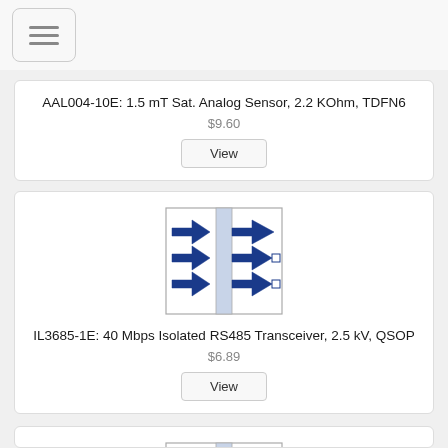[Figure (screenshot): Hamburger menu button icon with three horizontal lines]
AAL004-10E: 1.5 mT Sat. Analog Sensor, 2.2 KOhm, TDFN6
$9.60
View
[Figure (schematic): IC schematic diagram showing RS485 transceiver with arrows pointing inward and outward through a central isolation barrier]
IL3685-1E: 40 Mbps Isolated RS485 Transceiver, 2.5 kV, QSOP
$6.89
View
[Figure (schematic): Partial IC schematic diagram at bottom of page, showing similar RS485 transceiver layout]